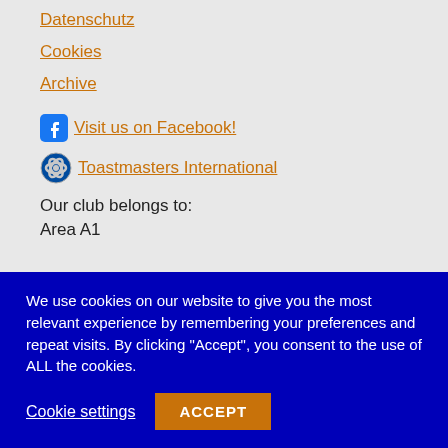Datenschutz
Cookies
Archive
Visit us on Facebook!
Toastmasters International
Our club belongs to:
Area A1
We use cookies on our website to give you the most relevant experience by remembering your preferences and repeat visits. By clicking “Accept”, you consent to the use of ALL the cookies.
Cookie settings
ACCEPT